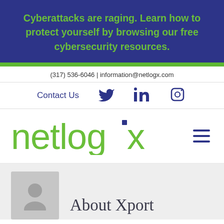Cyberattacks are raging. Learn how to protect yourself by browsing our free cybersecurity resources.
(317) 536-6046  |  information@netlogx.com
Contact Us
[Figure (logo): netlogx company logo in green with a dark blue square dot above the letter g]
About Xport